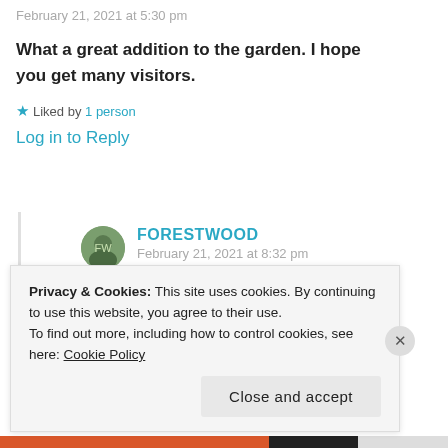February 21, 2021 at 5:30 pm
What a great addition to the garden. I hope you get many visitors.
★ Liked by 1 person
Log in to Reply
FORESTWOOD
February 21, 2021 at 8:32 pm
Privacy & Cookies: This site uses cookies. By continuing to use this website, you agree to their use.
To find out more, including how to control cookies, see here: Cookie Policy
Close and accept